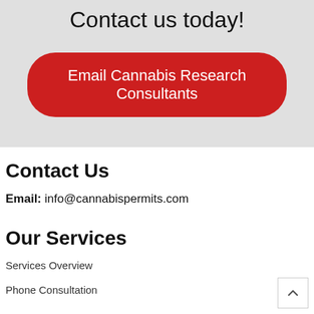Contact us today!
Email Cannabis Research Consultants
Contact Us
Email: info@cannabispermits.com
Our Services
Services Overview
Phone Consultation